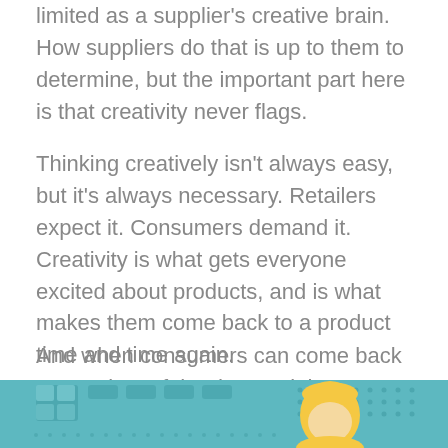limited as a supplier's creative brain. How suppliers do that is up to them to determine, but the important part here is that creativity never flags.
Thinking creatively isn't always easy, but it's always necessary. Retailers expect it. Consumers demand it. Creativity is what gets everyone excited about products, and is what makes them come back to a product time and time again.
And when consumers can come back at any time of the day or night to get that product, creativity is more important than ever.
[Figure (illustration): Partial illustration showing a teal/cyan background with a cartoon figure (person with blonde hair) visible at the bottom of the page, along with stylized panel/screen elements in the background.]